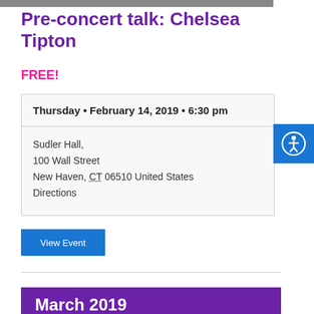[Figure (photo): Photo strip of performers at top of page]
Pre-concert talk: Chelsea Tipton
FREE!
| Thursday • February 14, 2019 • 6:30 pm |
| Sudler Hall,
100 Wall Street
New Haven, CT 06510 United States
Directions |
View Event
March 2019